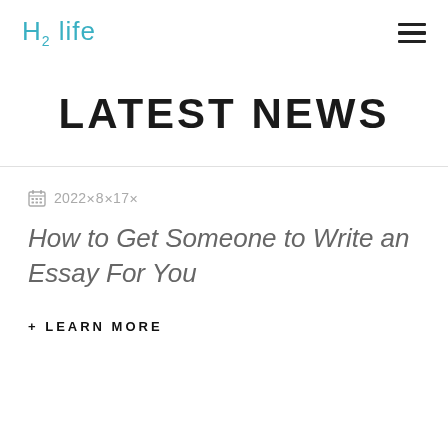H2 life
LATEST NEWS
2022✕8✕17✕
How to Get Someone to Write an Essay For You
+ LEARN MORE